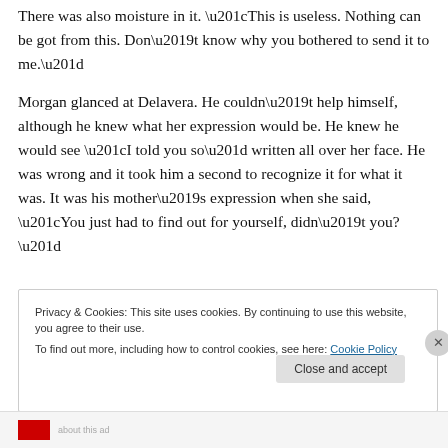There was also moisture in it. “This is useless. Nothing can be got from this. Don’t know why you bothered to send it to me.”
Morgan glanced at Delavera. He couldn’t help himself, although he knew what her expression would be. He knew he would see “I told you so” written all over her face. He was wrong and it took him a second to recognize it for what it was. It was his mother’s expression when she said, “You just had to find out for yourself, didn’t you?”
Privacy & Cookies: This site uses cookies. By continuing to use this website, you agree to their use.
To find out more, including how to control cookies, see here: Cookie Policy
Close and accept